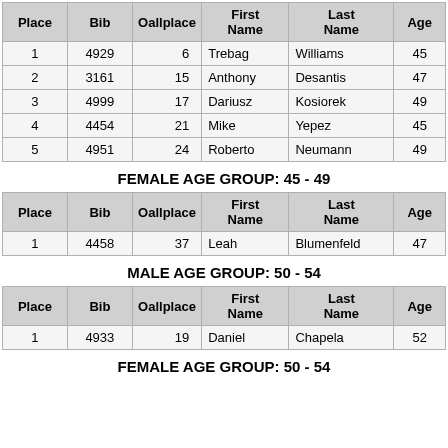| Place | Bib | Oallplace | First Name | Last Name | Age |
| --- | --- | --- | --- | --- | --- |
| 1 | 4929 | 6 | Trebag | Williams | 45 |
| 2 | 3161 | 15 | Anthony | Desantis | 47 |
| 3 | 4999 | 17 | Dariusz | Kosiorek | 49 |
| 4 | 4454 | 21 | Mike | Yepez | 45 |
| 5 | 4951 | 24 | Roberto | Neumann | 49 |
FEMALE AGE GROUP: 45 - 49
| Place | Bib | Oallplace | First Name | Last Name | Age |
| --- | --- | --- | --- | --- | --- |
| 1 | 4458 | 37 | Leah | Blumenfeld | 47 |
MALE AGE GROUP: 50 - 54
| Place | Bib | Oallplace | First Name | Last Name | Age | G |
| --- | --- | --- | --- | --- | --- | --- |
| 1 | 4933 | 19 | Daniel | Chapela | 52 |  |
FEMALE AGE GROUP: 50 - 54